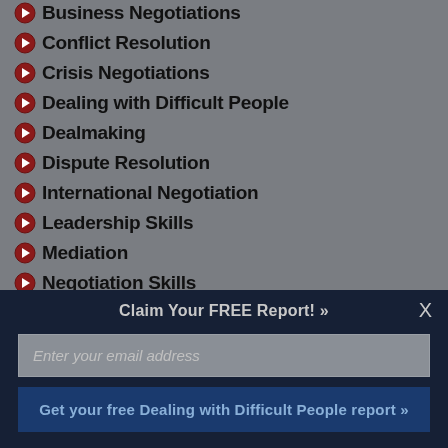Business Negotiations
Conflict Resolution
Crisis Negotiations
Dealing with Difficult People
Dealmaking
Dispute Resolution
International Negotiation
Leadership Skills
Mediation
Negotiation Skills
Negotiation Training
Claim Your FREE Report! »
Enter your email address
Get your free Dealing with Difficult People report »